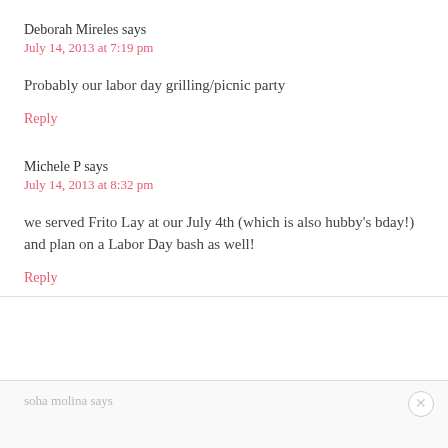Deborah Mireles says
July 14, 2013 at 7:19 pm
Probably our labor day grilling/picnic party
Reply
Michele P says
July 14, 2013 at 8:32 pm
we served Frito Lay at our July 4th (which is also hubby's bday!) and plan on a Labor Day bash as well!
Reply
soha molina says